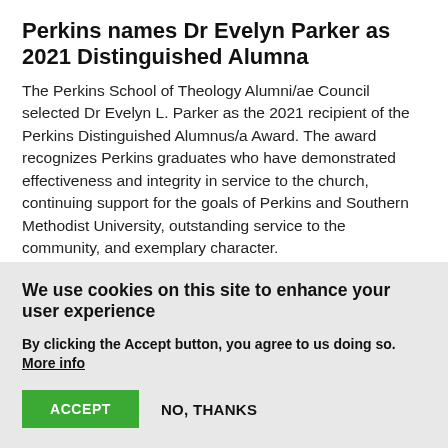Perkins names Dr Evelyn Parker as 2021 Distinguished Alumna
The Perkins School of Theology Alumni/ae Council selected Dr Evelyn L. Parker as the 2021 recipient of the Perkins Distinguished Alumnus/a Award. The award recognizes Perkins graduates who have demonstrated effectiveness and integrity in service to the church, continuing support for the goals of Perkins and Southern Methodist University, outstanding service to the community, and exemplary character.
11 November 2021
We use cookies on this site to enhance your user experience
By clicking the Accept button, you agree to us doing so. More info
ACCEPT
NO, THANKS